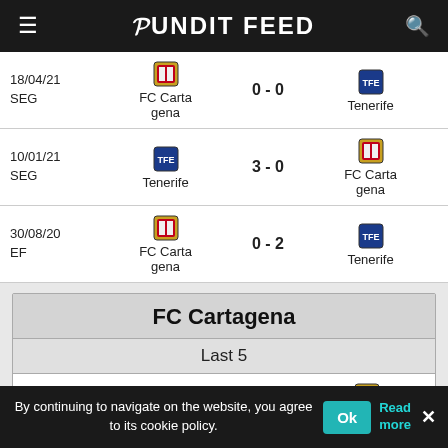Pundit Feed
| Date | Home Team | Score | Away Team |
| --- | --- | --- | --- |
| 18/04/21 SEG | FC Cartagena | 0 - 0 | Tenerife |
| 10/01/21 SEG | Tenerife | 3 - 0 | FC Cartagena |
| 30/08/20 EF | FC Cartagena | 0 - 2 | Tenerife |
FC Cartagena
Last 5
| Date | Home Team | Score | Away Team |
| --- | --- | --- | --- |
| 30/11/21 | Racing Ri… | 0 - 2 | FC Cart… |
By continuing to navigate on the website, you agree to its cookie policy.